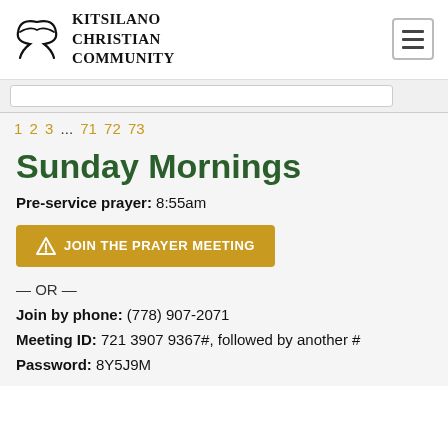Kitsilano Christian Community
Sunday Mornings
Pre-service prayer: 8:55am
JOIN THE PRAYER MEETING
— OR —
Join by phone: (778) 907-2071
Meeting ID: 721 3907 9367#, followed by another #
Password: 8Y5J9M